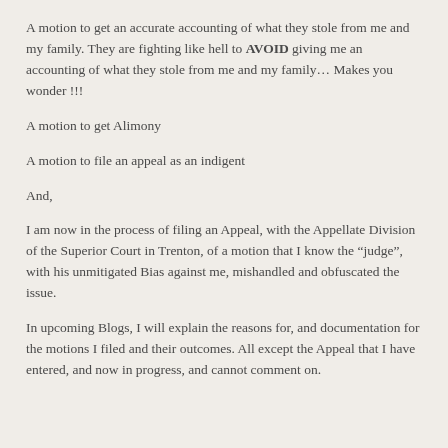A motion to get an accurate accounting of what they stole from me and my family. They are fighting like hell to AVOID giving me an accounting of what they stole from me and my family… Makes you wonder !!!
A motion to get Alimony
A motion to file an appeal as an indigent
And,
I am now in the process of filing an Appeal, with the Appellate Division of the Superior Court in Trenton, of a motion that I know the “judge”, with his unmitigated Bias against me, mishandled and obfuscated the issue.
In upcoming Blogs, I will explain the reasons for, and documentation for the motions I filed and their outcomes. All except the Appeal that I have entered, and now in progress, and cannot comment on.